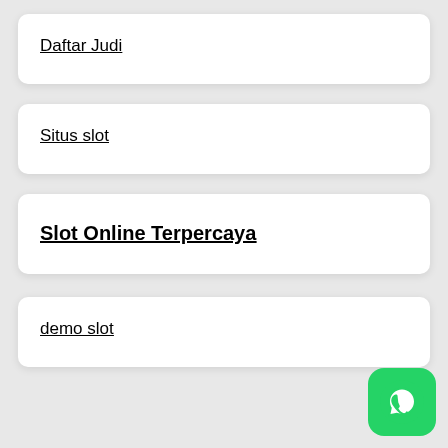Daftar Judi
Situs slot
Slot Online Terpercaya
demo slot
[Figure (logo): WhatsApp icon button — green rounded square with white phone/chat bubble logo]